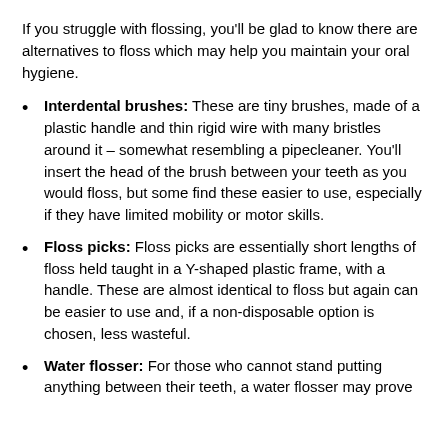If you struggle with flossing, you'll be glad to know there are alternatives to floss which may help you maintain your oral hygiene.
Interdental brushes: These are tiny brushes, made of a plastic handle and thin rigid wire with many bristles around it – somewhat resembling a pipecleaner. You'll insert the head of the brush between your teeth as you would floss, but some find these easier to use, especially if they have limited mobility or motor skills.
Floss picks: Floss picks are essentially short lengths of floss held taught in a Y-shaped plastic frame, with a handle. These are almost identical to floss but again can be easier to use and, if a non-disposable option is chosen, less wasteful.
Water flosser: For those who cannot stand putting anything between their teeth, a water flosser may prove